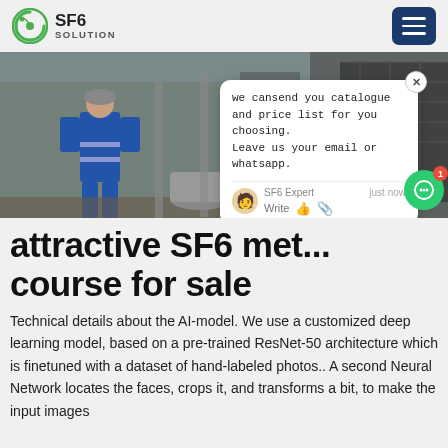SF6 SOLUTION
[Figure (photo): Industrial scene with a worker in blue coveralls and reflective stripes standing near heavy industrial equipment and scaffolding. A chat popup overlay is visible on the right side of the image.]
attractive SF6 met... course for sale
Technical details about the AI-model. We use a customized deep learning model, based on a pre-trained ResNet-50 architecture which is finetuned with a dataset of hand-labeled photos.. A second Neural Network locates the faces, crops it, and transforms a bit, to make the input images